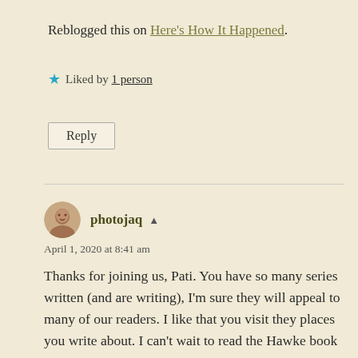Reblogged this on Here's How It Happened.
★ Liked by 1 person
Reply
photojaq ▲
April 1, 2020 at 8:41 am
Thanks for joining us, Pati. You have so many series written (and are writing), I'm sure they will appeal to many of our readers. I like that you visit they places you write about. I can't wait to read the Hawke book set in ICELAND!